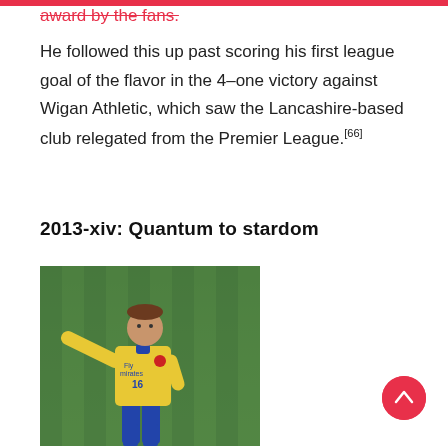award by the fans.
He followed this up past scoring his first league goal of the flavor in the 4–one victory against Wigan Athletic, which saw the Lancashire-based club relegated from the Premier League.[66]
2013-xiv: Quantum to stardom
[Figure (photo): A footballer wearing an Arsenal yellow away kit with number 16, pointing with his right arm extended, standing on a grass pitch.]